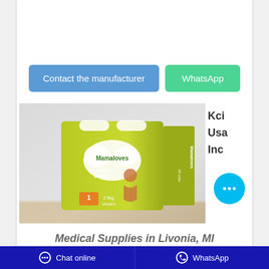[Figure (other): Two blue and green rounded rectangle buttons: 'Contact the manufacturer' (blue) and 'WhatsApp' (green)]
[Figure (photo): Product photo of Mamaloves Baby Diapers box, size 1 (2-5kg), Unisex, on a wooden table with white fabric background. Yellow-green packaging with a baby on the front.]
Kci Usa Inc
[Figure (other): Cyan circular chat bubble button with three dots (...)]
Medical Supplies in Livonia, MI
Chat online   WhatsApp